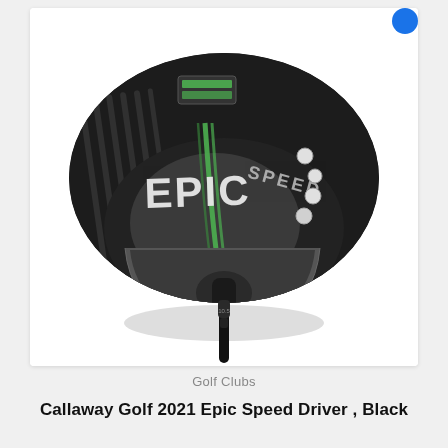[Figure (photo): Callaway Golf 2021 Epic Speed Driver golf club head in black with green accent stripes and 'EPIC SPEED' branding, viewed from above-front angle, with shaft extending downward.]
Golf Clubs
Callaway Golf 2021 Epic Speed Driver , Black